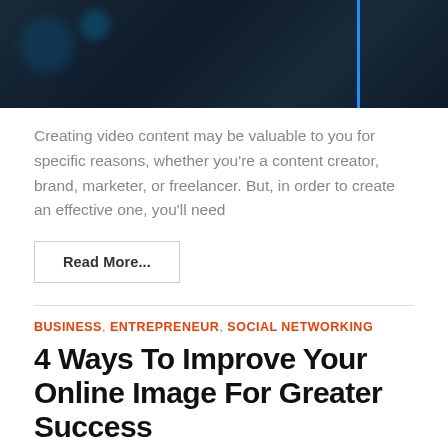[Figure (photo): Dark blue/black background hero image resembling a tech or server environment with a blue vertical line accent on the right side.]
Creating video content may be valuable to you for specific reasons, whether you're a content creator, brand, marketer, or freelancer. But, in order to create an effective one, you'll need
Read More...
BUSINESS, ENTREPRENEUR, SOCIAL NETWORKING
4 Ways To Improve Your Online Image For Greater Success
by ANDY SOWARDS